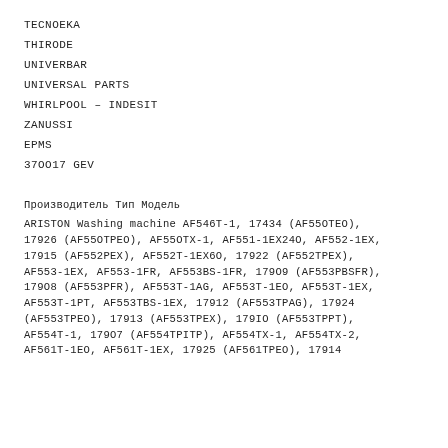TECNOEKA
THIRODE
UNIVERBAR
UNIVERSAL PARTS
WHIRLPOOL – INDESIT
ZANUSSI
EPMS
37OO17 GEV
Производитель Тип Модель
ARISTON Washing machine AF546T-1, 17434 (AF55OTEO), 17926 (AF55OTPEO), AF55OTX-1, AF551-1EX24O, AF552-1EX, 17915 (AF552PEX), AF552T-1EX6O, 17922 (AF552TPEX), AF553-1EX, AF553-1FR, AF553BS-1FR, 179O9 (AF553PBSFR), 179O8 (AF553PFR), AF553T-1AG, AF553T-1EO, AF553T-1EX, AF553T-1PT, AF553TBS-1EX, 17912 (AF553TPAG), 17924 (AF553TPEO), 17913 (AF553TPEX), 179IO (AF553TPPT), AF554T-1, 179O7 (AF554TPITP), AF554TX-1, AF554TX-2, AF561T-1EO, AF561T-1EX, 17925 (AF561TPEO), 17914